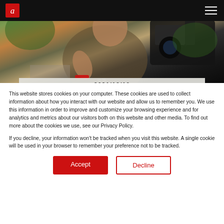[Figure (photo): Person giving thumbs up holding a large professional cinema camera outdoors, with trees and stone architecture in background. Navigation bar with logo and hamburger menu at top.]
2021/12/10
This website stores cookies on your computer. These cookies are used to collect information about how you interact with our website and allow us to remember you. We use this information in order to improve and customize your browsing experience and for analytics and metrics about our visitors both on this website and other media. To find out more about the cookies we use, see our Privacy Policy.
If you decline, your information won't be tracked when you visit this website. A single cookie will be used in your browser to remember your preference not to be tracked.
Accept
Decline